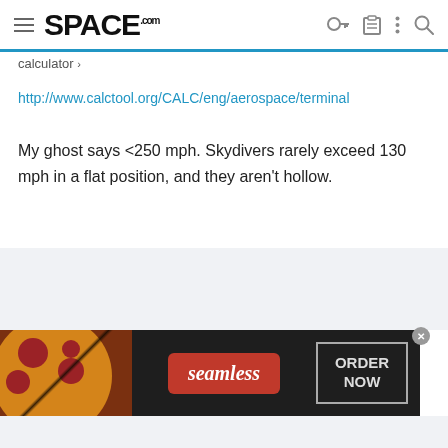SPACE.com navigation bar
calculator ~
http://www.calctool.org/CALC/eng/aerospace/terminal
My ghost says <250 mph. Skydivers rarely exceed 130 mph in a flat position, and they aren't hollow.
[Figure (screenshot): Seamless food ordering advertisement banner with pizza image on left, red Seamless logo in center, and ORDER NOW button on right with dark background]